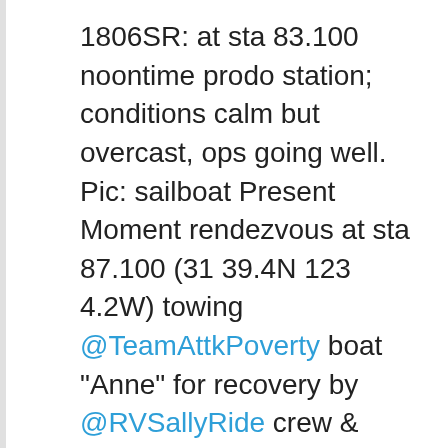1806SR: at sta 83.100 noontime prodo station; conditions calm but overcast, ops going well. Pic: sailboat Present Moment rendezvous at sta 87.100 (31 39.4N 123 4.2W) towing @TeamAttkPoverty boat "Anne" for recovery by @RVSallyRide crew & @calcofi scientists pic.twitter.com/8ZiJGnyCow
— Calcofi (@calcofi) June 18,